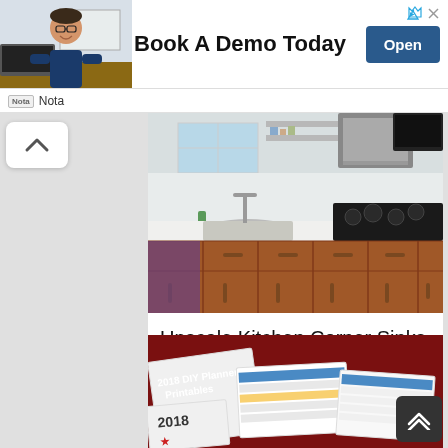[Figure (screenshot): Advertisement banner with photo of man in glasses at desk, text 'Book A Demo Today', blue 'Open' button, Nota logo and text]
[Figure (photo): Modern kitchen with corner sink, wood cabinets, stainless steel range hood, white countertops]
Upscale Kitchen Corner Sinks Design Inspiration That ...
[Figure (photo): 2018 DIY Planner Printables - printed calendar pages spread on a dark red surface]